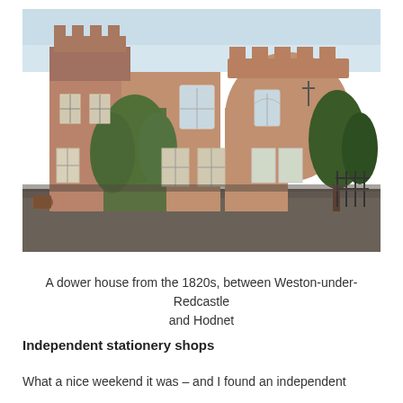[Figure (photo): A red sandstone castle-like dower house from the 1820s with battlemented towers, ivy-covered walls, white-framed windows, and gravel forecourt, photographed at dusk with trees visible to the right.]
A dower house from the 1820s, between Weston-under-Redcastle and Hodnet
Independent stationery shops
What a nice weekend it was – and I found an independent